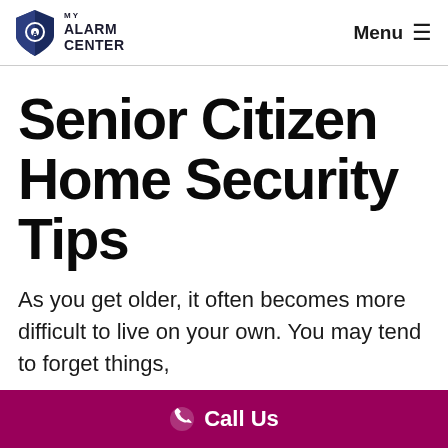MY ALARM CENTER | Menu
Senior Citizen Home Security Tips
As you get older, it often becomes more difficult to live on your own. You may tend to forget things,
Call Us